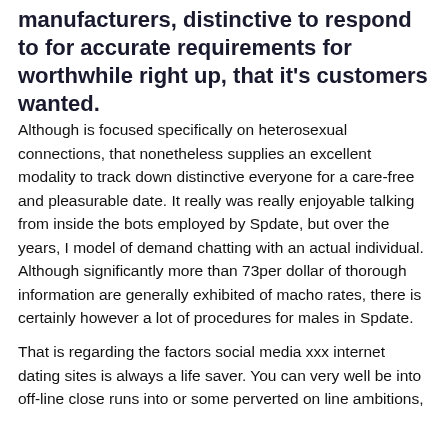manufacturers, distinctive to respond to for accurate requirements for worthwhile right up, that it's customers wanted.
Although is focused specifically on heterosexual connections, that nonetheless supplies an excellent modality to track down distinctive everyone for a care-free and pleasurable date. It really was really enjoyable talking from inside the bots employed by Spdate, but over the years, I model of demand chatting with an actual individual. Although significantly more than 73per dollar of thorough information are generally exhibited of macho rates, there is certainly however a lot of procedures for males in Spdate.
That is regarding the factors social media xxx internet dating sites is always a life saver. You can very well be into off-line close runs into or some perverted on line ambitions,